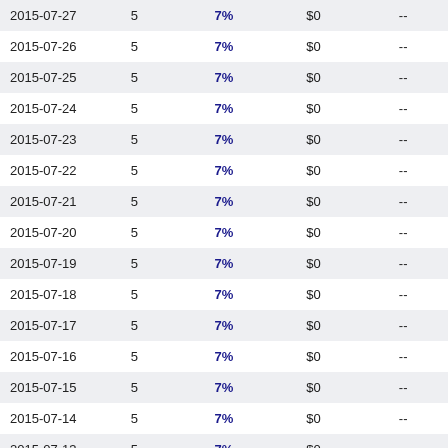| 2015-07-27 | 5 | 7% | $0 | -- |
| 2015-07-26 | 5 | 7% | $0 | -- |
| 2015-07-25 | 5 | 7% | $0 | -- |
| 2015-07-24 | 5 | 7% | $0 | -- |
| 2015-07-23 | 5 | 7% | $0 | -- |
| 2015-07-22 | 5 | 7% | $0 | -- |
| 2015-07-21 | 5 | 7% | $0 | -- |
| 2015-07-20 | 5 | 7% | $0 | -- |
| 2015-07-19 | 5 | 7% | $0 | -- |
| 2015-07-18 | 5 | 7% | $0 | -- |
| 2015-07-17 | 5 | 7% | $0 | -- |
| 2015-07-16 | 5 | 7% | $0 | -- |
| 2015-07-15 | 5 | 7% | $0 | -- |
| 2015-07-14 | 5 | 7% | $0 | -- |
| 2015-07-13 | 5 | 7% | $0 | -- |
| 2015-07-12 | 5 | 7% | $0 | -- |